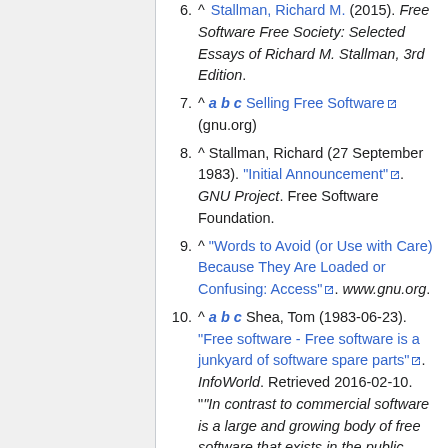6. ^ Stallman, Richard M. (2015). Free Software Free Society: Selected Essays of Richard M. Stallman, 3rd Edition.
7. ^ a b c Selling Free Software (gnu.org)
8. ^ Stallman, Richard (27 September 1983). "Initial Announcement". GNU Project. Free Software Foundation.
9. ^ "Words to Avoid (or Use with Care) Because They Are Loaded or Confusing: Access". www.gnu.org.
10. ^ a b c Shea, Tom (1983-06-23). "Free software - Free software is a junkyard of software spare parts". InfoWorld. Retrieved 2016-02-10. ""In contrast to commercial software is a large and growing body of free software that exists in the public domain. Public-domain software is written by microcomputer hobbyists (also known as "hackers") many of whom are